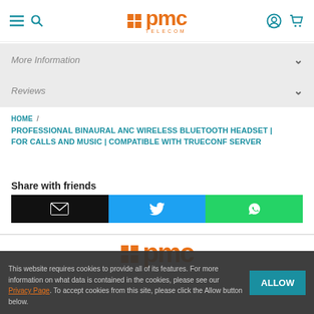PMC Telecom - navigation header with hamburger, search, logo, account, cart icons
More Information
Reviews
HOME / PROFESSIONAL BINAURAL ANC WIRELESS BLUETOOTH HEADSET | FOR CALLS AND MUSIC | COMPATIBLE WITH TRUECONF SERVER
Share with friends
[Figure (screenshot): Share buttons: email (black), Twitter (blue), WhatsApp (green)]
[Figure (logo): PMC Telecom footer logo]
This website requires cookies to provide all of its features. For more information on what data is contained in the cookies, please see our Privacy Page. To accept cookies from this site, please click the Allow button below.